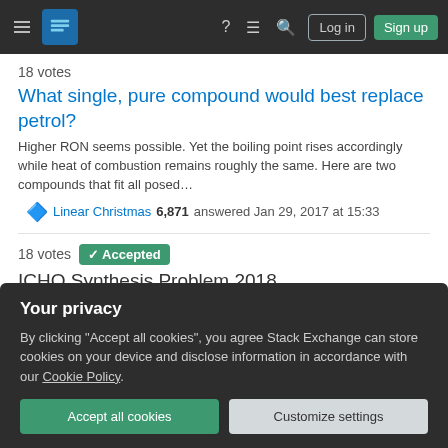Stack Exchange navigation bar with Log in and Sign up buttons
18 votes
What single, pure compound would best replace petrol?
Higher RON seems possible. Yet the boiling point rises accordingly while heat of combustion remains roughly the same. Here are two compounds that fit all posed…
Linear Christmas 6,871 answered Jan 29, 2017 at 15:33
18 votes  Accepted
ICHO Synthesis Problem 2018
You have asked quite a number of questions in your post so let's tackle it one by one. Why does the oxidation take place at that particular nitrogen atom? To understand th…
Tan Yong Boon 9,464 answered Jan 13, 2019 at 7:49
Your privacy
By clicking "Accept all cookies", you agree Stack Exchange can store cookies on your device and disclose information in accordance with our Cookie Policy.
Accept all cookies
Customize settings
AChem 33.3k answered Mar 23, 2020 at 23:04